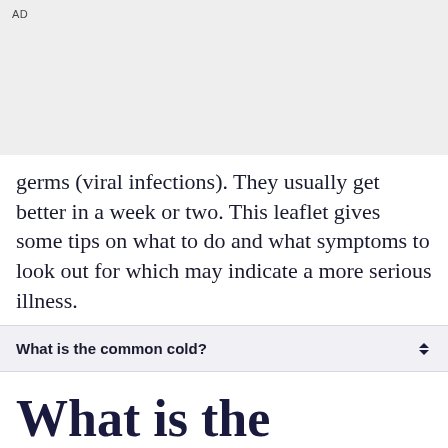AD
germs (viral infections). They usually get better in a week or two. This leaflet gives some tips on what to do and what symptoms to look out for which may indicate a more serious illness.
What is the common cold?
What is the common cold?
What is a cold?